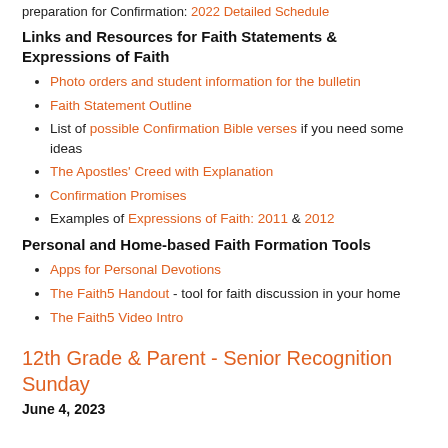preparation for Confirmation: 2022 Detailed Schedule
Links and Resources for Faith Statements & Expressions of Faith
Photo orders and student information for the bulletin
Faith Statement Outline
List of possible Confirmation Bible verses if you need some ideas
The Apostles' Creed with Explanation
Confirmation Promises
Examples of Expressions of Faith: 2011 & 2012
Personal and Home-based Faith Formation Tools
Apps for Personal Devotions
The Faith5 Handout - tool for faith discussion in your home
The Faith5 Video Intro
12th Grade & Parent - Senior Recognition Sunday
June 4, 2023